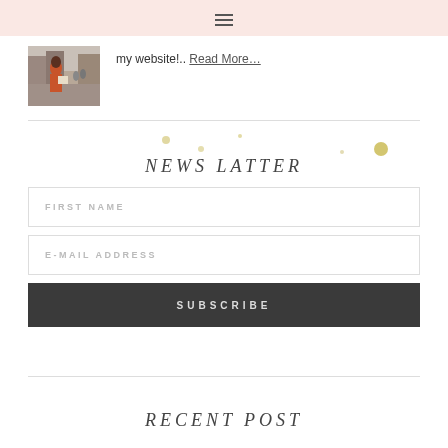≡
[Figure (photo): Woman with red coat holding a map in a city street]
my website!.. Read More…
NEWS LATTER
FIRST NAME
E-MAIL ADDRESS
SUBSCRIBE
RECENT POST